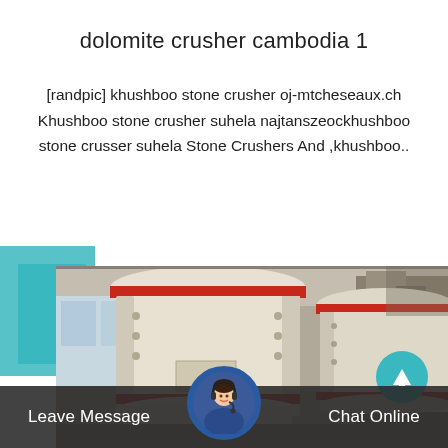dolomite crusher cambodia 1
[randpic] khushboo stone crusher oj-mtcheseaux.ch Khushboo stone crusher suhela najtanszeockhushboo stone crusser suhela Stone Crushers And ,khushboo..
[Figure (photo): Industrial photo of large dolomite crusher machines in a factory setting. Two large cream/white cylindrical crusher units with red trim bands are visible, set in an industrial warehouse environment. A teal decorative block element appears in the upper left.]
Leave Message   Chat Online